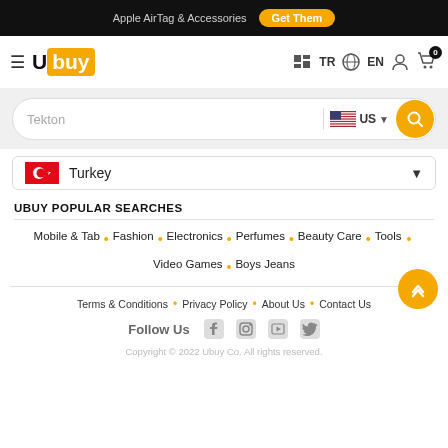Apple AirTag & Accessories  Get Them
[Figure (logo): Ubuy logo with navigation icons: hamburger menu, TR flag, EN globe, user icon, cart with 0 badge]
Tekton  US
Turkey
UBUY POPULAR SEARCHES
Mobile & Tab • Fashion • Electronics • Perfumes • Beauty Care • Tools • Video Games • Boys Jeans
Terms & Conditions • Privacy Policy • About Us • Contact Us
Follow Us
Copyright © 2022 Ubuy Co. All rights reserved.